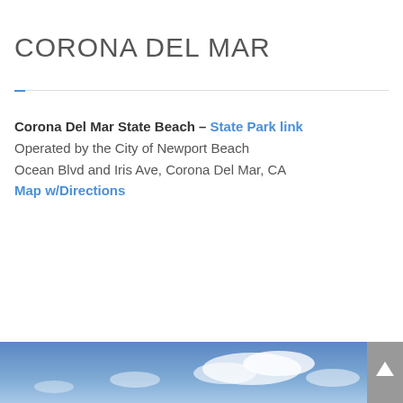CORONA DEL MAR
Corona Del Mar State Beach – State Park link
Operated by the City of Newport Beach
Ocean Blvd and Iris Ave, Corona Del Mar, CA
Map w/Directions
[Figure (photo): Aerial or beach photo of Corona Del Mar with blue sky and clouds visible at bottom of page]